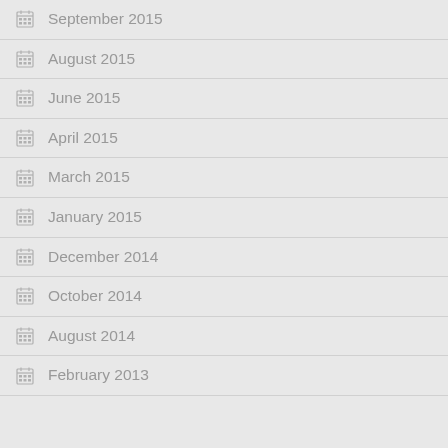September 2015
August 2015
June 2015
April 2015
March 2015
January 2015
December 2014
October 2014
August 2014
February 2013